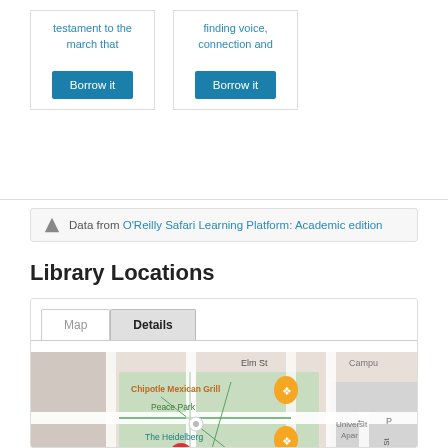testament to the march that
Borrow it
finding voice, connection and
Borrow it
Data from O'Reilly Safari Learning Platform: Academic edition
Library Locations
[Figure (map): Google Maps view showing library location with red pin marker near Davis Quadrangle and Francis Historic area. Map shows Peace Park, Chipotle Mexican Grill, The Heidelberg restaurant, University Ave, Elm St, Hitt St, and University Apartments area. Orange restaurant markers and teal location markers visible.]